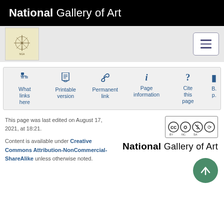National Gallery of Art
[Figure (logo): National Gallery of Art small logo — compass-like star emblem on beige background]
[Figure (infographic): Navigation tools bar with icons: What links here, Printable version, Permanent link, Page information, Cite this page]
This page was last edited on August 17, 2021, at 18:21.
Content is available under Creative Commons Attribution-NonCommercial-ShareAlike unless otherwise noted.
[Figure (logo): Creative Commons BY NC SA badge]
[Figure (logo): National Gallery of Art footer logo — large text logo]
[Figure (other): Scroll to top button — green circle with upward arrow]